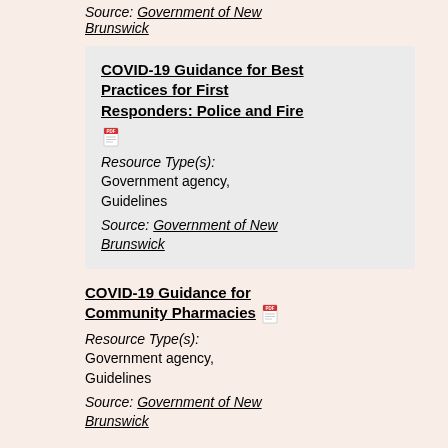Source: Government of New Brunswick
COVID-19 Guidance for Best Practices for First Responders: Police and Fire
Resource Type(s): Government agency, Guidelines
Source: Government of New Brunswick
COVID-19 Guidance for Community Pharmacies
Resource Type(s): Government agency, Guidelines
Source: Government of New Brunswick